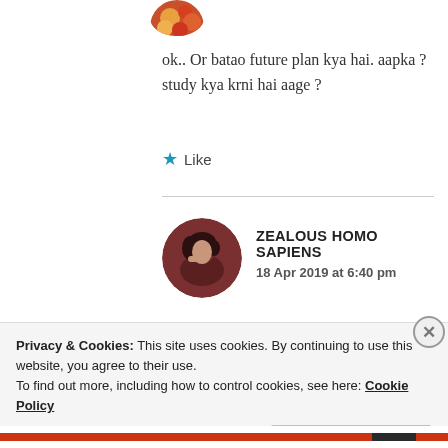[Figure (photo): Circular avatar photo at top, showing colorful pattern (orange/red/yellow tones)]
ok.. Or batao future plan kya hai. aapka ? study kya krni hai aage ?
★ Like
[Figure (photo): Circular avatar photo of a person with dark hair against dark reddish-brown background]
ZEALOUS HOMO SAPIENS
18 Apr 2019 at 6:40 pm
Privacy & Cookies: This site uses cookies. By continuing to use this website, you agree to their use.
To find out more, including how to control cookies, see here: Cookie Policy
Close and accept